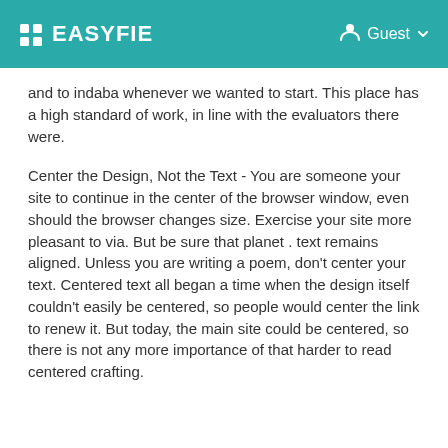EASYFIE  Guest
and to indaba whenever we wanted to start. This place has a high standard of work, in line with the evaluators there were.
Center the Design, Not the Text - You are someone your site to continue in the center of the browser window, even should the browser changes size. Exercise your site more pleasant to via. But be sure that planet . text remains aligned. Unless you are writing a poem, don't center your text. Centered text all began a time when the design itself couldn't easily be centered, so people would center the link to renew it. But today, the main site could be centered, so there is not any more importance of that harder to read centered crafting.